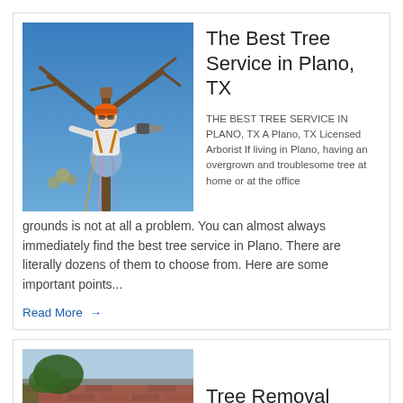[Figure (photo): Arborist in orange helmet with chainsaw trimming branches high in a leafless tree against a blue sky]
The Best Tree Service in Plano, TX
THE BEST TREE SERVICE IN PLANO, TX A Plano, TX Licensed Arborist If living in Plano, having an overgrown and troublesome tree at home or at the office grounds is not at all a problem. You can almost always immediately find the best tree service in Plano. There are literally dozens of them to choose from. Here are some important points...
Read More →
[Figure (photo): Partial view of a house with a tree near the roofline, brick exterior visible]
Tree Removal